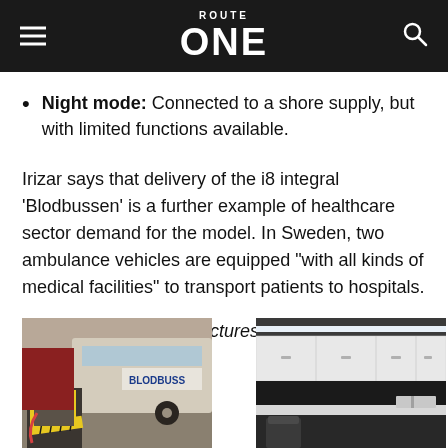ROUTE ONE
Night mode: Connected to a shore supply, but with limited functions available.
Irizar says that delivery of the i8 integral ‘Blodbussen’ is a further example of healthcare sector demand for the model. In Sweden, two ambulance vehicles are equipped “with all kinds of medical facilities” to transport patients to hospitals.
Click on the following pictures to enlarge:
[Figure (photo): Exterior photo of the Blodbussen bus with a wheelchair ramp deployed, showing the side of the vehicle with 'BLODBUSS' text visible]
[Figure (photo): Interior photo of the Blodbussen bus showing white medical storage cabinets along the ceiling and a work surface]